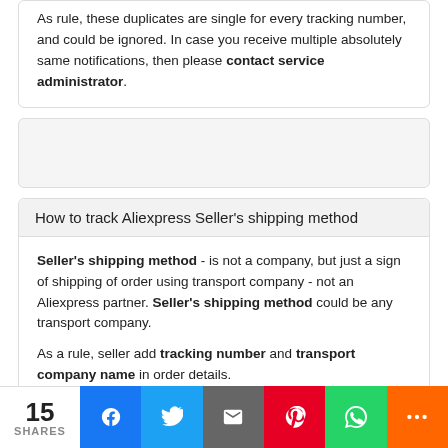As rule, these duplicates are single for every tracking number, and could be ignored. In case you receive multiple absolutely same notifications, then please contact service administrator.
[Figure (other): Gray placeholder box (empty content area)]
How to track Aliexpress Seller's shipping method
Seller's shipping method - is not a company, but just a sign of shipping of order using transport company - not an Aliexpress partner. Seller's shipping method could be any transport company.

As a rule, seller add tracking number and transport company name in order details.
If your item send via Seller's shipping method, but seller haven't provided transport company name, then you have to
15 SHARES | Facebook | Twitter | Email | Pinterest | WhatsApp | More